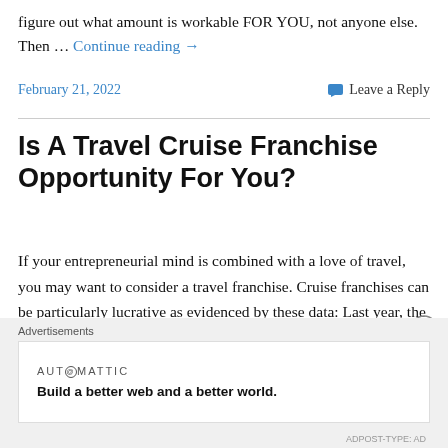figure out what amount is workable FOR YOU, not anyone else. Then … Continue reading →
February 21, 2022   Leave a Reply
Is A Travel Cruise Franchise Opportunity For You?
If your entrepreneurial mind is combined with a love of travel, you may want to consider a travel franchise. Cruise franchises can be particularly lucrative as evidenced by these data: Last year, the Cruise Lines International Association (CLIA) reported that the North American
Advertisements
AUT⊙MATTIC
Build a better web and a better world.